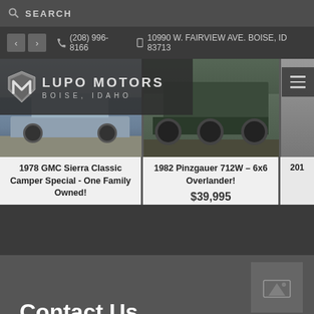SEARCH
(208) 996-8166  10990 W. FAIRVIEW AVE. BOISE, ID 83713
[Figure (screenshot): Lupo Motors Boise Idaho logo with stylized M/shield icon in silver on dark background]
[Figure (photo): 1978 GMC Sierra Classic Camper Special pickup truck, light blue, parked on pavement]
1978 GMC Sierra Classic Camper Special - One Family Owned!
$35,995
[Figure (photo): 1982 Pinzgauer 712W 6x6 military overlander vehicle, dark green/black, large tires]
1982 Pinzgauer 712W – 6x6 Overlander!
$39,995
201
[Figure (photo): Partially visible third vehicle listing]
Contact Us